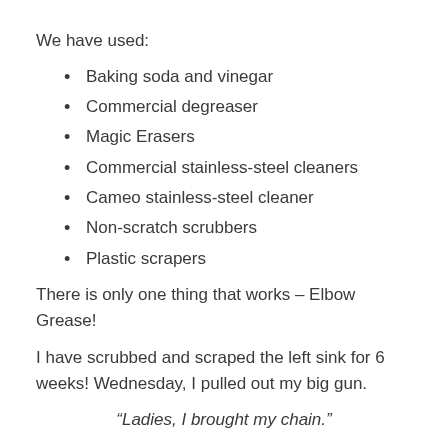We have used:
Baking soda and vinegar
Commercial degreaser
Magic Erasers
Commercial stainless-steel cleaners
Cameo stainless-steel cleaner
Non-scratch scrubbers
Plastic scrapers
There is only one thing that works – Elbow Grease!
I have scrubbed and scraped the left sink for 6 weeks! Wednesday, I pulled out my big gun.
“Ladies, I brought my chain.”